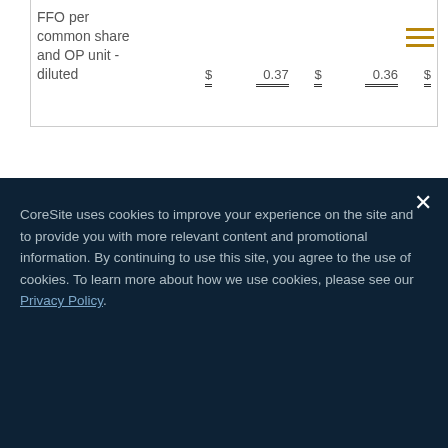|  |  |  |  | $ |
| --- | --- | --- | --- | --- |
| FFO per common share and OP unit - diluted | $ | 0.37 | $ | 0.36 | $ |
CoreSite uses cookies to improve your experience on the site and to provide you with more relevant content and promotional information. By continuing to use this site, you agree to the use of cookies. To learn more about how we use cookies, please see our Privacy Policy.